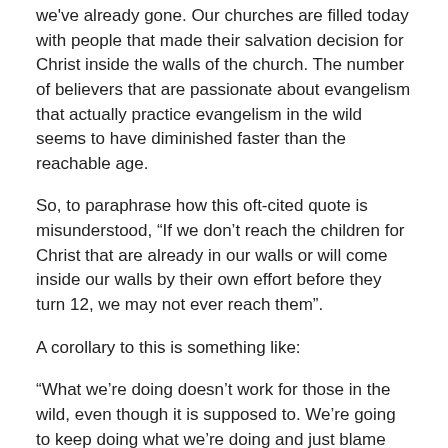we've already gone. Our churches are filled today with people that made their salvation decision for Christ inside the walls of the church. The number of believers that are passionate about evangelism that actually practice evangelism in the wild seems to have diminished faster than the reachable age.
So, to paraphrase how this oft-cited quote is misunderstood, “If we don’t reach the children for Christ that are already in our walls or will come inside our walls by their own effort before they turn 12, we may not ever reach them”.
A corollary to this is something like:
“What we’re doing doesn’t work for those in the wild, even though it is supposed to. We’re going to keep doing what we’re doing and just blame the difficulty on the lost people – they’re just harder to reach.”